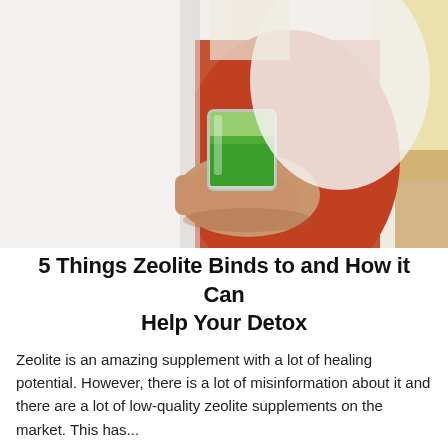[Figure (photo): A person in a white lab coat over a red/orange top, holding a glass of green juice or smoothie in both hands against a light blurred background.]
5 Things Zeolite Binds to and How it Can Help Your Detox
Zeolite is an amazing supplement with a lot of healing potential. However, there is a lot of misinformation about it and there are a lot of low-quality zeolite supplements on the market. This has...